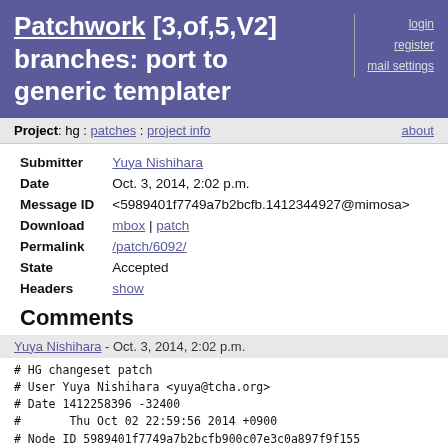Patchwork [3,of,5,V2] branches: port to generic templater
login
register
mail settings
Project: hg : patches : project info   about
| Field | Value |
| --- | --- |
| Submitter | Yuya Nishihara |
| Date | Oct. 3, 2014, 2:02 p.m. |
| Message ID | <5989401f7749a7b2bcfb.1412344927@mimosa> |
| Download | mbox | patch |
| Permalink | /patch/6092/ |
| State | Accepted |
| Headers | show |
Comments
Yuya Nishihara - Oct. 3, 2014, 2:02 p.m.
# HG changeset patch
# User Yuya Nishihara <yuya@tcha.org>
# Date 1412258396 -32400
#       Thu Oct 02 22:59:56 2014 +0900
# Node ID 5989401f7749a7b2bcfb900c07e3c0a897f9f155
# Parent  f143c558f693d5426d7eee84b42ef6dee217209d